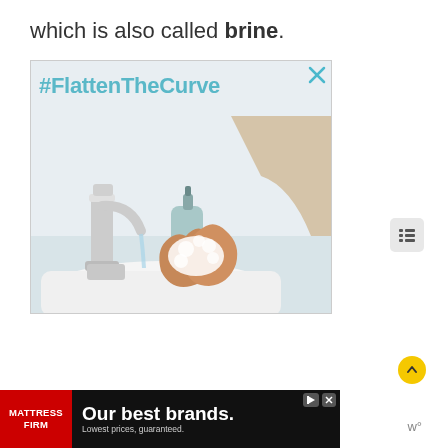which is also called brine.
[Figure (photo): Advertisement image showing a #FlattenTheCurve public health campaign with a person washing hands with soap under a faucet at a bathroom sink, with a soap dispenser visible. A close X button is shown in the top right corner of the ad.]
[Figure (photo): Mattress Firm banner advertisement: 'Our best brands. Lowest prices, guaranteed.' with Mattress Firm logo on red background, and ad controls (play/close buttons) in upper right.]